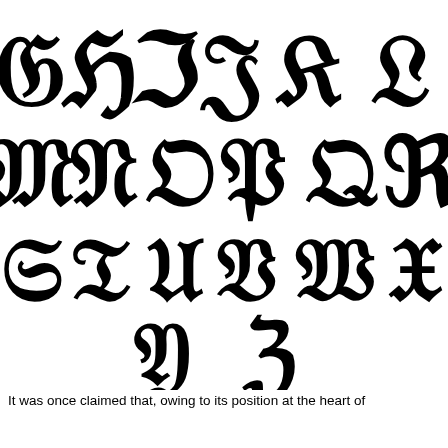[Figure (illustration): Blackletter / Old English style capital letters displayed in rows: Row 1: G H I J K L, Row 2: M N O P Q R, Row 3: S T U V W X, Row 4: Y Z]
It was once claimed that, owing to its position at the heart of